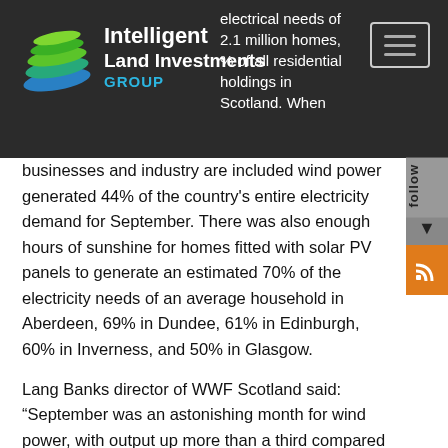Intelligent Land Investments GROUP — electrical needs of 2.1 million homes, % of all residential holdings in Scotland. When
businesses and industry are included wind power generated 44% of the country's entire electricity demand for September. There was also enough hours of sunshine for homes fitted with solar PV panels to generate an estimated 70% of the electricity needs of an average household in Aberdeen, 69% in Dundee, 61% in Edinburgh, 60% in Inverness, and 50% in Glasgow.
Lang Banks director of WWF Scotland said: “September was an astonishing month for wind power, with output up more than a third compared to the same period last year. Even more amazing was that on two separate days wind turbines alone